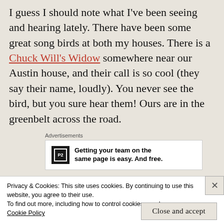I guess I should note what I've been seeing and hearing lately. There have been some great song birds at both my houses. There is a Chuck Will's Widow somewhere near our Austin house, and their call is so cool (they say their name, loudly). You never see the bird, but you sure hear them! Ours are in the greenbelt across the road.
Advertisements
[Figure (other): Advertisement banner for P2 with logo and text: Getting your team on the same page is easy. And free.]
Privacy & Cookies: This site uses cookies. By continuing to use this website, you agree to their use.
To find out more, including how to control cookies, see here:
Cookie Policy